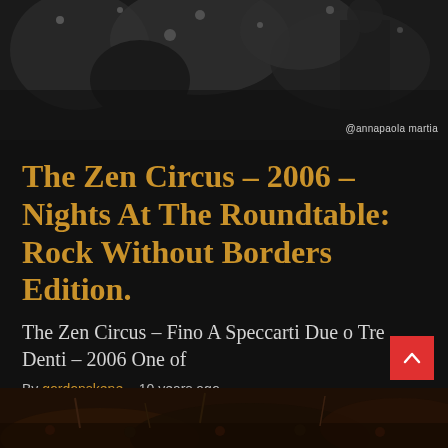[Figure (photo): Black and white concert photo showing crowd and performers, top portion of page]
The Zen Circus – 2006 – Nights At The Roundtable: Rock Without Borders Edition.
The Zen Circus – Fino A Speccarti Due o Tre Denti – 2006 One of
By gordonskene    10 years ago
[Figure (photo): Sepia-toned concert photo showing crowd at bottom of page]